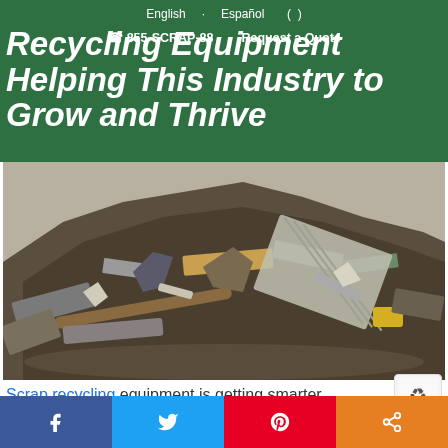English · Español · ( )
☎ 855-SCRAP-88   Request a Quote
Recycling Equipment Helping This Industry to Grow and Thrive
[Figure (photo): Large pile of mixed scrap metal and recycling materials at a scrap yard, viewed from ground level. Various metals, corrugated sheets, pipes, and debris visible in a jumbled heap.]
Scrap recycling equipment is getting smarter...
[Figure (infographic): Social media share bar with four buttons: Facebook (blue), Twitter (light blue), Pinterest (red), Share (orange)]